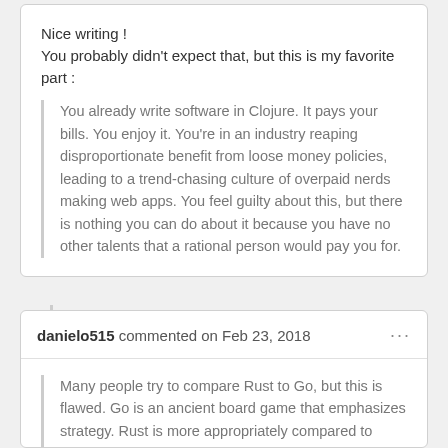Nice writing !
You probably didn't expect that, but this is my favorite part :
You already write software in Clojure. It pays your bills. You enjoy it. You're in an industry reaping disproportionate benefit from loose money policies, leading to a trend-chasing culture of overpaid nerds making web apps. You feel guilty about this, but there is nothing you can do about it because you have no other talents that a rational person would pay you for.
danielo515 commented on Feb 23, 2018
Many people try to compare Rust to Go, but this is flawed. Go is an ancient board game that emphasizes strategy. Rust is more appropriately compared to Chess,
Is this a joke about the go language (which rust is usually compared to) or is it just a coincidence? I can't tell 😕